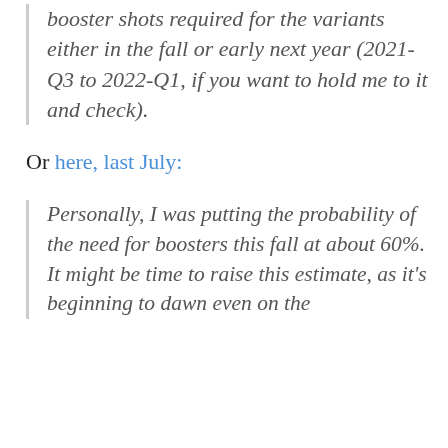booster shots required for the variants either in the fall or early next year (2021-Q3 to 2022-Q1, if you want to hold me to it and check).
Or here, last July:
Personally, I was putting the probability of the need for boosters this fall at about 60%. It might be time to raise this estimate, as it's beginning to dawn even on the